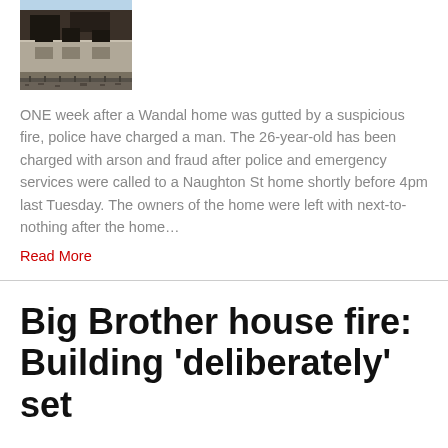[Figure (photo): Burned and gutted building exterior, fire damaged structure with charred walls and debris visible]
ONE week after a Wandal home was gutted by a suspicious fire, police have charged a man. The 26-year-old has been charged with arson and fraud after police and emergency services were called to a Naughton St home shortly before 4pm last Tuesday. The owners of the home were left with next-to-nothing after the home…
Read More
Big Brother house fire: Building 'deliberately' set alight by somebody